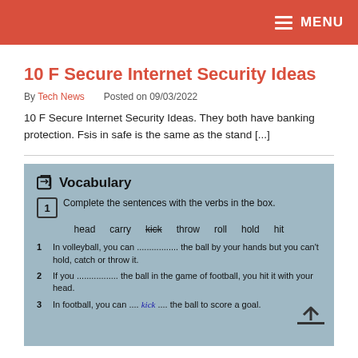MENU
10 F Secure Internet Security Ideas
By Tech News   Posted on 09/03/2022
10 F Secure Internet Security Ideas. They both have banking protection. Fsis in safe is the same as the stand [...]
[Figure (photo): A vocabulary exercise worksheet showing a box with verbs: head, carry, kick (strikethrough), throw, roll, hold, hit. Exercise 1 asks to complete sentences with verbs in the box. Sentences: 1. In volleyball, you can .............. the ball by your hands but you can't hold, catch or throw it. 2. If you .............. the ball in the game of football, you hit it with your head. 3. In football, you can ....kick.... the ball to score a goal. A back-to-top arrow appears in the bottom right.]